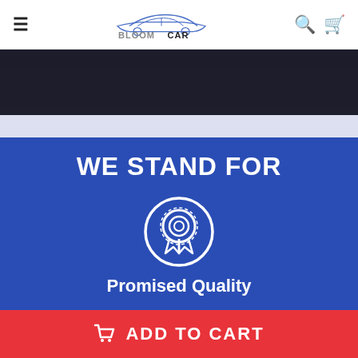[Figure (logo): BloomCar logo with stylized car outline and text in blue]
[Figure (photo): Dark photo strip showing car interior or automotive scene]
WE STAND FOR
[Figure (illustration): Award medal / quality badge icon in white circle on blue background]
Promised Quality
ADD TO CART